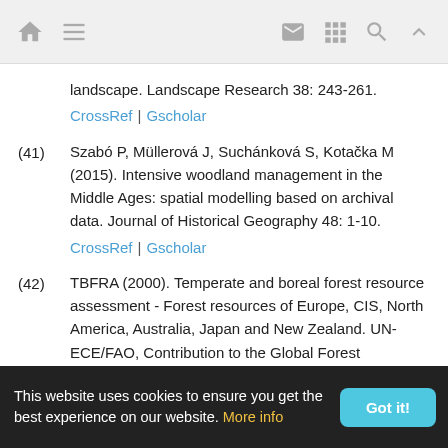Navigation header with home, menu, mail, grid, search, and up icons
landscape. Landscape Research 38: 243-261.
CrossRef | Gscholar
(41) Szabó P, Müllerová J, Suchánková S, Kotačka M (2015). Intensive woodland management in the Middle Ages: spatial modelling based on archival data. Journal of Historical Geography 48: 1-10.
CrossRef | Gscholar
(42) TBFRA (2000). Temperate and boreal forest resource assessment - Forest resources of Europe, CIS, North America, Australia, Japan and New Zealand. UN-ECE/FAO, Contribution to the Global Forest Resources Assessment 2000, Geneva Timber and Forest Study
This website uses cookies to ensure you get the best experience on our website. More info